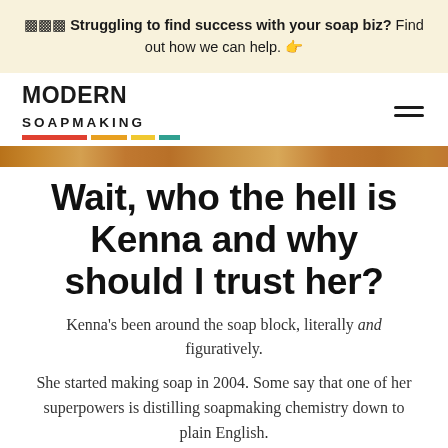🟧🟧🟧 Struggling to find success with your soap biz? Find out how we can help. 👉
[Figure (logo): Modern Soapmaking logo with colorful underline stripes and hamburger menu icon]
[Figure (photo): Wood grain strip banner image]
Wait, who the hell is Kenna and why should I trust her?
Kenna's been around the soap block, literally and figuratively.
She started making soap in 2004. Some say that one of her superpowers is distilling soapmaking chemistry down to plain English.